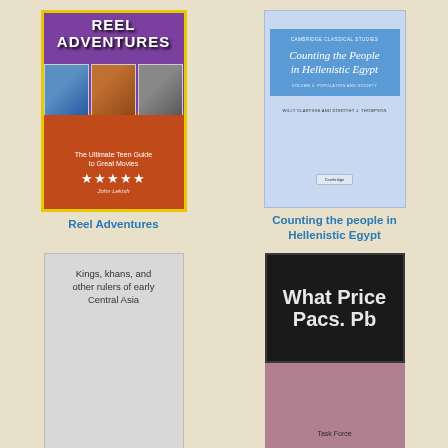[Figure (illustration): Book cover: Reel Adventures - The Ultimate Teen Guide to Great Movies by John Lekish. Yellow border, purple top with title text, photos of people in middle, red/orange bottom with subtitle stars and author name.]
Reel Adventures
[Figure (illustration): Book cover: Counting the People in Hellenistic Egypt - Cambridge Classical Studies. Light blue cover with blue inner panel, italic white title text.]
Counting the people in Hellenistic Egypt
[Figure (illustration): Book cover: Kings, khans, and other rulers of early Central Asia. Plain light grey cover with black text title.]
[Figure (illustration): Book cover: What Price Pacs. Pb - Task Force. Dark black top half with bold grey title, mauve/dusty rose bottom half with Task Force text.]